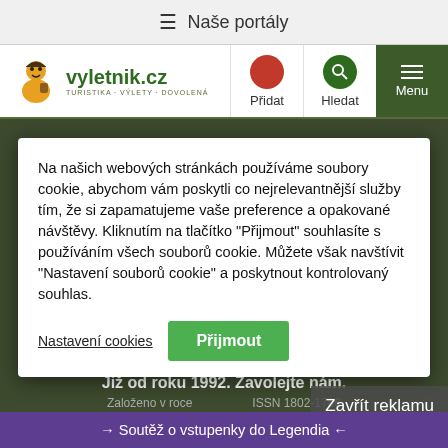≡ Naše portály
[Figure (logo): vyletnik.cz logo with mascot, subtitle TURISTIKA · VÝLETY · DOVOLENÁ]
Přidat
Hledat
Menu
Na našich webových stránkách používáme soubory cookie, abychom vám poskytli co nejrelevantnější služby tím, že si zapamatujeme vaše preference a opakované návštěvy. Kliknutím na tlačítko "Přijmout" souhlasíte s používáním všech souborů cookie. Můžete však navštívit "Nastavení souborů cookie" a poskytnout kontrolovaný souhlas.
Nastavení cookies
Přijmout
Zavřít reklamu
<
Tradice od roku 1992
Služby v oblasti požární ochrany a bezpečnosti práce. Již od roku 1992. Zavolejte nám.
Založeno v roce... ISSN 1802-1786
→ Soutěž o vstupenky do Legendia ←